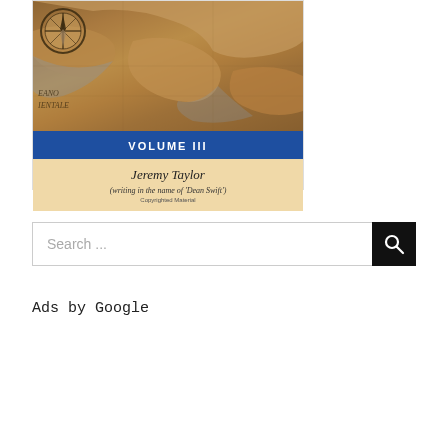[Figure (illustration): Book cover showing Volume III with an antique map and compass background image, a blue band with 'VOLUME III' text, and a cream area with author 'Jeremy Taylor' and subtitle '(writing in the name of 'Dean Swift')' and 'Copyrighted Material']
Search ...
Ads by Google